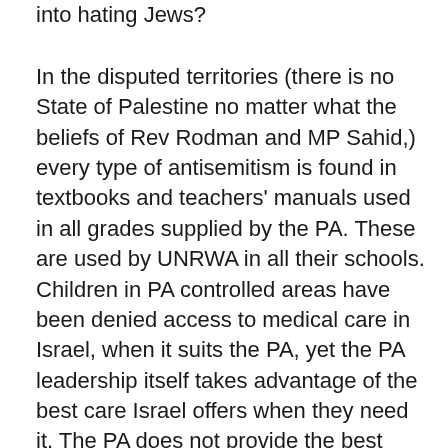into hating Jews?
In the disputed territories (there is no State of Palestine no matter what the beliefs of Rev Rodman and MP Sahid,) every type of antisemitism is found in textbooks and teachers' manuals used in all grades supplied by the PA. These are used by UNRWA in all their schools. Children in PA controlled areas have been denied access to medical care in Israel, when it suits the PA, yet the PA leadership itself takes advantage of the best care Israel offers when they need it. The PA does not provide the best care because instead of funding good health care, as is their responsibility under the Oslo Accords, they fund terrorists and their families for life under their pay-for-